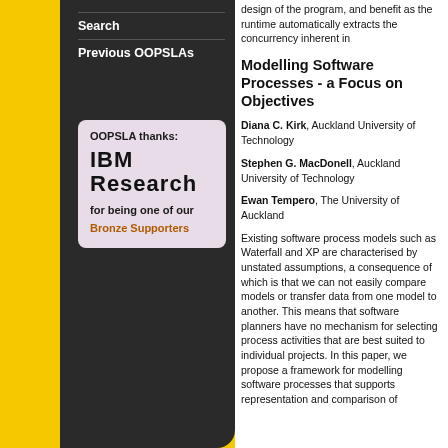design of the program, and benefit as the runtime automatically extracts the concurrency inherent in
Search
Previous OOPSLAs
[Figure (other): OOPSLA thanks IBM Research for being one of our Bronze Supporters sponsor box]
Modelling Software Processes - a Focus on Objectives
Diana C. Kirk, Auckland University of Technology
Stephen G. MacDonell, Auckland University of Technology
Ewan Tempero, The University of Auckland
Existing software process models such as Waterfall and XP are characterised by unstated assumptions, a consequence of which is that we can not easily compare models or transfer data from one model to another. This means that software planners have no mechanism for selecting process activities that are best suited to individual projects. In this paper, we propose a framework for modelling software processes that supports representation and comparison of